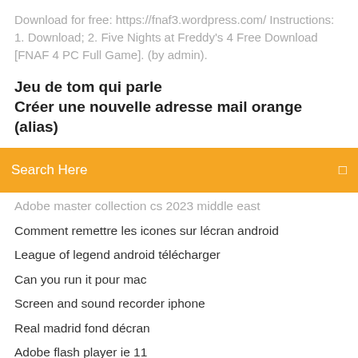Download for free: https://fnaf3.wordpress.com/ Instructions: 1. Download; 2. Five Nights at Freddy's 4 Free Download [FNAF 4 PC Full Game]. (by admin).
Jeu de tom qui parle
Créer une nouvelle adresse mail orange (alias)
[Figure (other): Search bar with orange background and text 'Search Here']
Adobe master collection cs 2023 middle east
Comment remettre les icones sur lécran android
League of legend android télécharger
Can you run it pour mac
Screen and sound recorder iphone
Real madrid fond décran
Adobe flash player ie 11
Changer le format dune video sans logiciel
Probleme de telechargement clash of clans
Pilote pour carte son realtek
Eyes the horror game pc gratuit télécharger